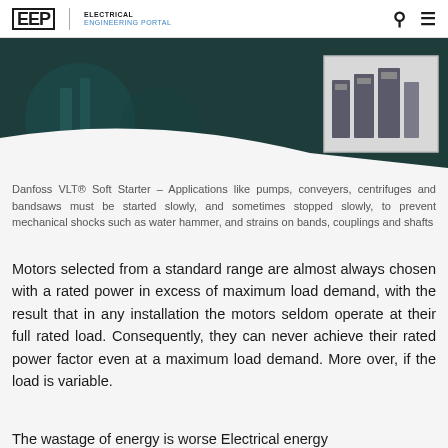EEP | ELECTRICAL ENGINEERING PORTAL
[Figure (photo): Danfoss VLT Soft Starter product image showing industrial soft starter units against a dark teal industrial background. A product box in the upper right shows multiple soft starter units of varying sizes.]
Danfoss VLT® Soft Starter – Applications like pumps, conveyers, centrifuges and bandsaws must be started slowly, and sometimes stopped slowly, to prevent mechanical shocks such as water hammer, and strains on bands, couplings and shafts
Motors selected from a standard range are almost always chosen with a rated power in excess of maximum load demand, with the result that in any installation the motors seldom operate at their full rated load. Consequently, they can never achieve their rated power factor even at a maximum load demand. More over, if the load is variable.
The wastage of energy is worse Electrical energy